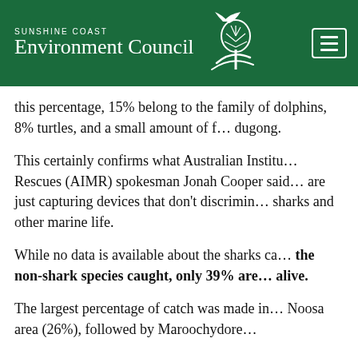Sunshine Coast Environment Council
this percentage, 15% belong to the family of dolphins, 8% turtles, and a small amount of f… dugong.
This certainly confirms what Australian Institu… Rescues (AIMR) spokesman Jonah Cooper said… are just capturing devices that don't discrimin… sharks and other marine life.
While no data is available about the sharks ca… the non-shark species caught, only 39% are… alive.
The largest percentage of catch was made in… Noosa area (26%), followed by Maroochydore…